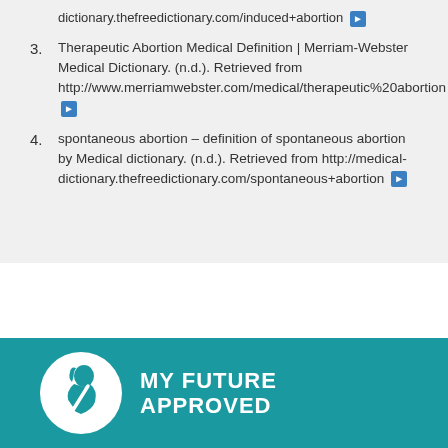3. Therapeutic Abortion Medical Definition | Merriam-Webster Medical Dictionary. (n.d.). Retrieved from http://www.merriamwebster.com/medical/therapeutic%20abortion [link]
4. spontaneous abortion – definition of spontaneous abortion by Medical dictionary. (n.d.). Retrieved from http://medical-dictionary.thefreedictionary.com/spontaneous+abortion [link]
[Figure (logo): My Future Approved logo: white circle with a stylized woman's face profile icon, next to white bold text reading MY FUTURE APPROVED on teal background]